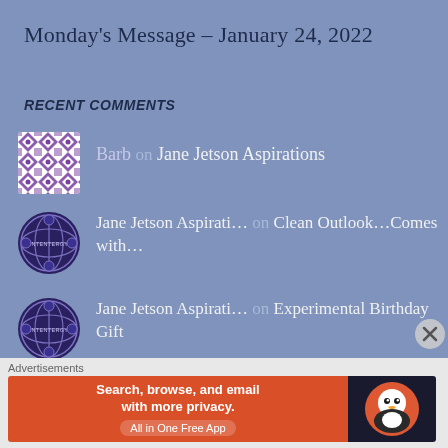Monday's Message – January 24, 2022
RECENT COMMENTS
Barb on Jane Jetson Aspirations
Jane Jetson Aspirati… on Clean Outlook…Comes with…
Jane Jetson Aspirati… on Experimental Birthday Gift
Jane Jetson Aspirati… on Breaking
Advertisements
[Figure (infographic): DuckDuckGo advertisement banner: orange left section with text 'Search, browse, and email with more privacy. All in One Free App' and dark right section with DuckDuckGo duck logo]